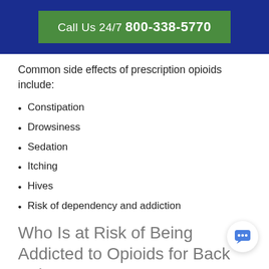[Figure (other): Blue header bar with green button reading 'Call Us 24/7 800-338-5770']
Common side effects of prescription opioids include:
Constipation
Drowsiness
Sedation
Itching
Hives
Risk of dependency and addiction
Who Is at Risk of Being Addicted to Opioids for Back Pain?
If you are taking opioid painkillers, it doesn't necessarily mean you will consequently suffer